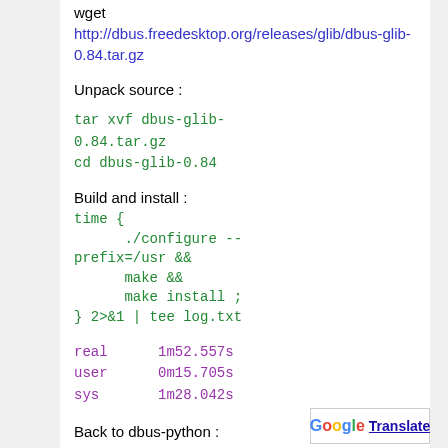wget http://dbus.freedesktop.org/releases/glib/dbus-glib-0.84.tar.gz
Unpack source :
tar xvf dbus-glib-0.84.tar.gz
cd dbus-glib-0.84
Build and install :
time {
    ./configure --prefix=/usr &&
    make &&
    make install ;
} 2>&1 | tee log.txt
real	1m52.557s
user	0m15.705s
sys	1m28.042s
Back to dbus-python :
Done !
real	1m50.055s
user	0m12.797s
sys	1m29.458s